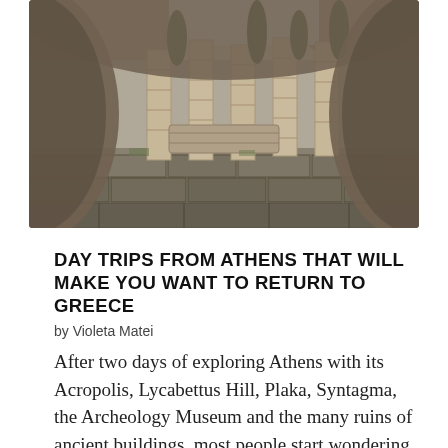[Figure (photo): Ancient Greek ruins viewed through an arched opening, showing stone columns and large stone block foundations against a rocky hillside with cypress trees, in Delphi, Greece.]
DAY TRIPS FROM ATHENS THAT WILL MAKE YOU WANT TO RETURN TO GREECE
by Violeta Matei
After two days of exploring Athens with its Acropolis, Lycabettus Hill, Plaka, Syntagma, the Archeology Museum and the many ruins of ancient buildings, most people start wondering what